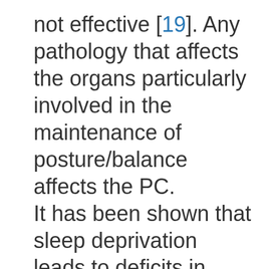not effective [19]. Any pathology that affects the organs particularly involved in the maintenance of posture/balance affects the PC. It has been shown that sleep deprivation leads to deficits in cognitive functions [20] which were specifically identified as disturbances in the circadian rhythms [21]; however, a